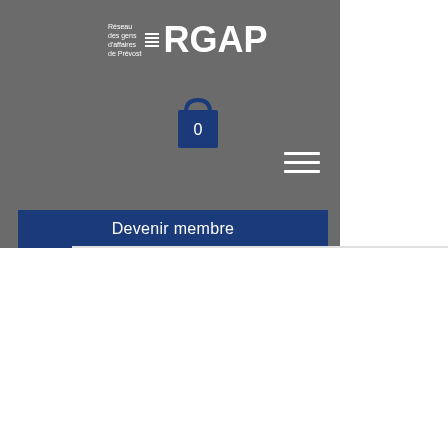[Figure (screenshot): RGAP website header with logo, shopping cart icon showing 0, hamburger menu, and Devenir membre button on grey background]
[Figure (screenshot): YouTube-style channel page with dark red banner, avatar circle with letter B, S'abonner subscribe button, three-dot menu, channel name 'Bitstarz casino reddit, казин...' and stats '0 Abonnés • 0 Abonnements']